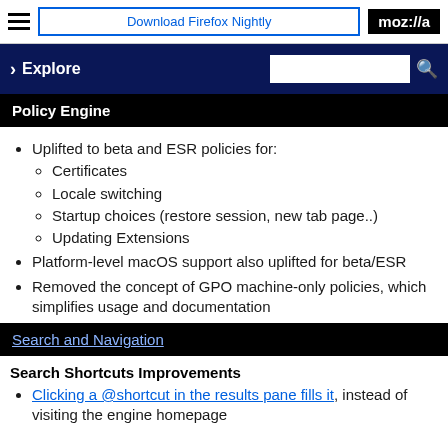Download Firefox Nightly | moz://a
Explore
Policy Engine
Uplifted to beta and ESR policies for:
Certificates
Locale switching
Startup choices (restore session, new tab page..)
Updating Extensions
Platform-level macOS support also uplifted for beta/ESR
Removed the concept of GPO machine-only policies, which simplifies usage and documentation
Search and Navigation
Search Shortcuts Improvements
Clicking a @shortcut in the results pane fills it, instead of visiting the engine homepage